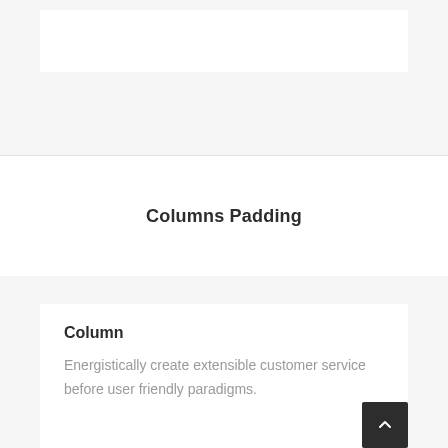[Figure (screenshot): White horizontal bar element on a light gray background, representing a UI component placeholder]
Columns Padding
Column
Energistically create extensible customer service before user friendly paradigms.